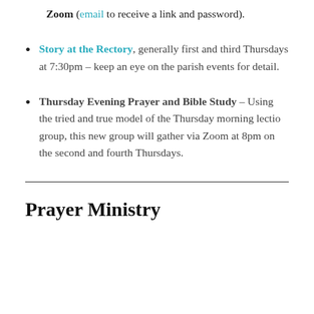Zoom (email to receive a link and password).
Story at the Rectory, generally first and third Thursdays at 7:30pm – keep an eye on the parish events for detail.
Thursday Evening Prayer and Bible Study – Using the tried and true model of the Thursday morning lectio group, this new group will gather via Zoom at 8pm on the second and fourth Thursdays.
Prayer Ministry